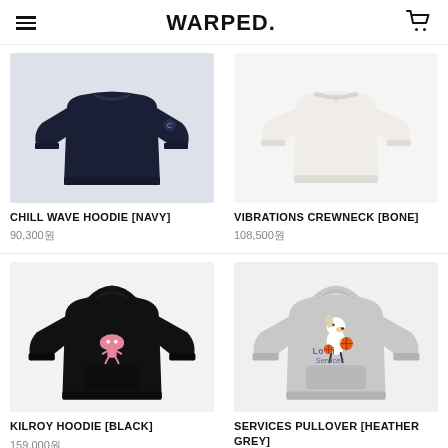WARPED.
[Figure (photo): Navy hoodie sweatshirt (Chill Wave Hoodie)]
CHILL WAVE HOODIE [NAVY]
90,300원
[Figure (photo): White crewneck sweatshirt (Vibrations Crewneck)]
VIBRATIONS CREWNECK [BONE]
108,500원
[Figure (photo): Black hoodie with pink alien/mushroom graphic (Kilroy Hoodie)]
KILROY HOODIE [BLACK]
159,000원
[Figure (photo): Heather grey pullover hoodie with Snoopy Lo-Fi Services graphic]
SERVICES PULLOVER [HEATHER GREY]
119,700원